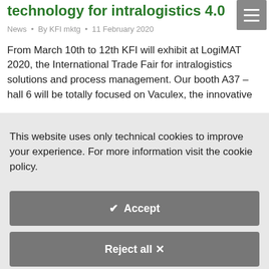technology for intralogistics 4.0
News • By KFI mktg • 11 February 2020
From March 10th to 12th KFI will exhibit at LogiMAT 2020, the International Trade Fair for intralogistics solutions and process management. Our booth A37 – hall 6 will be totally focused on Vaculex, the innovative
This website uses only technical cookies to improve your experience. For more information visit the cookie policy.
Accept
Reject all ✕
Cookie Policy →
Change settings ⚙